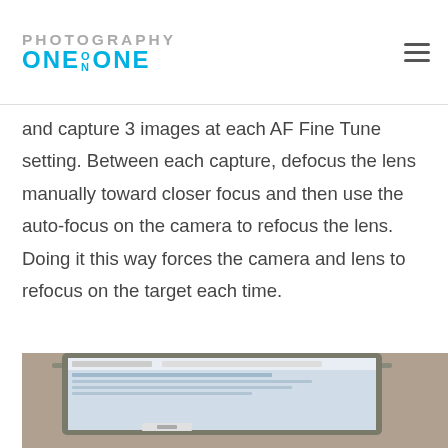PHOTOGRAPHY ONE ON ONE
and capture 3 images at each AF Fine Tune setting. Between each capture, defocus the lens manually toward closer focus and then use the auto-focus on the camera to refocus the lens. Doing it this way forces the camera and lens to refocus on the target each time.
[Figure (photo): Photo of a laptop computer screen showing a webpage or document, partially visible at the bottom of the page.]